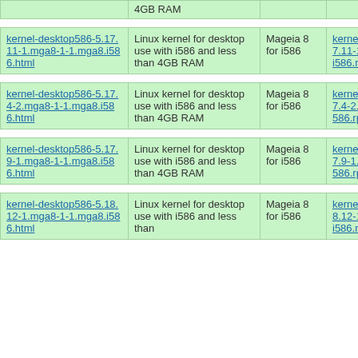| 4GB RAM |  |  |
| kernel-desktop586-5.17.11-1.mga8-1-1.mga8.i586.html | Linux kernel for desktop use with i586 and less than 4GB RAM | Mageia 8 for i586 | kernel-desktop586-5.17.11-1.mga8-1-1.mga8.i586.rpm |
| kernel-desktop586-5.17.4-2.mga8-1-1.mga8.i586.html | Linux kernel for desktop use with i586 and less than 4GB RAM | Mageia 8 for i586 | kernel-desktop586-5.17.4-2.mga8-1-1.mga8.i586.rpm |
| kernel-desktop586-5.17.9-1.mga8-1-1.mga8.i586.html | Linux kernel for desktop use with i586 and less than 4GB RAM | Mageia 8 for i586 | kernel-desktop586-5.17.9-1.mga8-1-1.mga8.i586.rpm |
| kernel-desktop586-5.18.12-1.mga8-1-1.mga8.i586.html | Linux kernel for desktop use with i586 and less than | Mageia 8 for i586 | kernel-desktop586-5.18.12-1.mga8-1-1.mga8.i586.rpm |